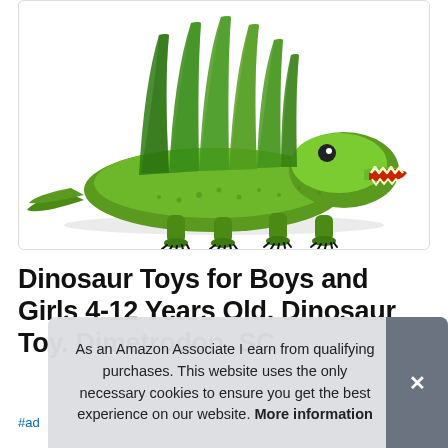[Figure (photo): A green Dimetrodon dinosaur toy figurine with a sail on its back and open jaws showing red interior and teeth, photographed on a white background.]
Dinosaur Toys for Boys and Girls 4-12 Years Old. Dinosaur Toy. Dimetrodon. SC
#ad
As an Amazon Associate I earn from qualifying purchases. This website uses the only necessary cookies to ensure you get the best experience on our website. More information